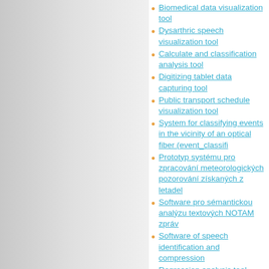Biomedical data visualization tool
Dysarthric speech visualization tool
Calculate and classification analysis tool
Digitizing tablet data capturing tool
Public transport schedule visualization tool
System for classifying events in the vicinity of an optical fiber (event_classifi
Prototyp systému pro zpracování meteorologických pozorování získaných z letadel
Software pro sémantickou analýzu textových NOTAM zpráv
Software of speech identification and compression
Regression analysis tool
Hand segmentation in thermal spectrum
Application for the artery transverse section tracking with manual initialisation